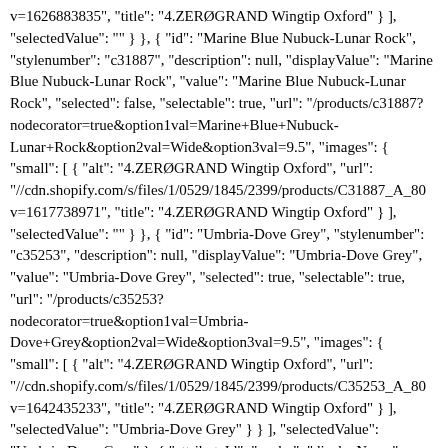v=1626883835", "title": "4.ZERØGRAND Wingtip Oxford" } ], "selectedValue": "" } }, { "id": "Marine Blue Nubuck-Lunar Rock", "stylenumber": "c31887", "description": null, "displayValue": "Marine Blue Nubuck-Lunar Rock", "value": "Marine Blue Nubuck-Lunar Rock", "selected": false, "selectable": true, "url": "/products/c31887?nodecorator=true&option1val=Marine+Blue+Nubuck-Lunar+Rock&option2val=Wide&option3val=9.5", "images": { "small": [ { "alt": "4.ZERØGRAND Wingtip Oxford", "url": "//cdn.shopify.com/s/files/1/0529/1845/2399/products/C31887_A_80 v=1617738971", "title": "4.ZERØGRAND Wingtip Oxford" } ], "selectedValue": "" } }, { "id": "Umbria-Dove Grey", "stylenumber": "c35253", "description": null, "displayValue": "Umbria-Dove Grey", "value": "Umbria-Dove Grey", "selected": true, "selectable": true, "url": "/products/c35253?nodecorator=true&option1val=Umbria-Dove+Grey&option2val=Wide&option3val=9.5", "images": { "small": [ { "alt": "4.ZERØGRAND Wingtip Oxford", "url": "//cdn.shopify.com/s/files/1/0529/1845/2399/products/C35253_A_80 v=1642435233", "title": "4.ZERØGRAND Wingtip Oxford" } ], "selectedValue": "Umbria-Dove Grey" } } ], "selectedValue": "Umbria-Dove Grey" }, { "attributeId": "ancho", "displayName": "Ancho", "id": "ancho", "swatchable": true, "values": [ { "id": "Medium", "stylenumber": "c35253", "description": null, "displayValue": "Medium", "value": "Medium", "selected": false,